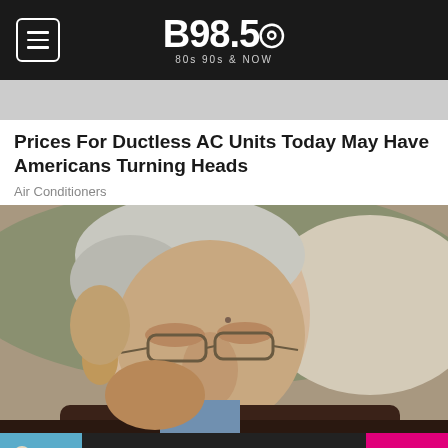B98.5 · 80s 90s & NOW
[Figure (photo): Partially visible advertisement image strip at top]
Prices For Ductless AC Units Today May Have Americans Turning Heads
Air Conditioners
[Figure (photo): Elderly man with white hair and glasses sleeping or resting in a chair, wearing a dark sweater over a plaid shirt]
[Figure (photo): Now playing bar: album art showing two figures on blue background. Song: TRAMPOLINE by SHAED. Pink play button on right.]